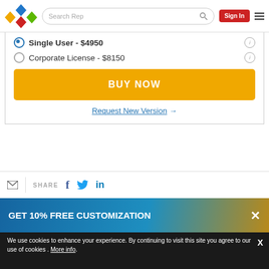[Figure (logo): Colorful diamond pattern logo with blue, yellow, red, and green diamonds]
[Figure (screenshot): Search bar with placeholder text 'Search Rep' and magnifying glass icon]
[Figure (screenshot): Red Sign In button in header]
Single User - $4950
Corporate License - $8150
BUY NOW
Request New Version →
SHARE
GET 10% FREE CUSTOMIZATION
We use cookies to enhance your experience. By continuing to visit this site you agree to our use of cookies . More info.
REQUEST FREE SAMPLE REPORT
Call
Email